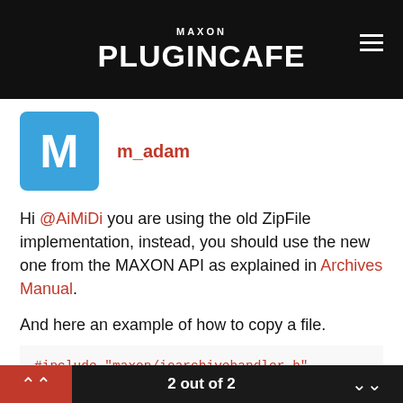MAXON PLUGINCAFE
m_adam
Hi @AiMiDi you are using the old ZipFile implementation, instead, you should use the new one from the MAXON API as explained in Archives Manual.
And here an example of how to copy a file.
#include "maxon/ioarchivehandler.h"

Bool res = false;
Filename importFilename;
res = importFilename.FileSelect(FILESELECTT
2 out of 2